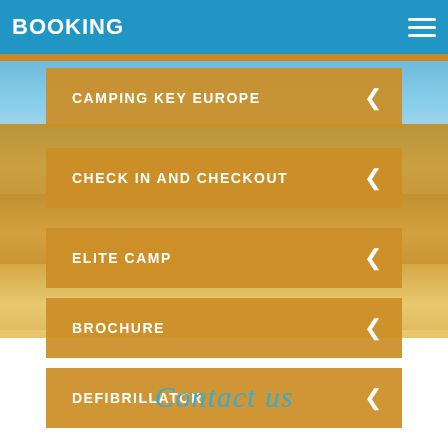BOOKING
CAMPING KEY EUROPE
CHECK IN AND CHECKOUT
ELITE CAMP
BROCHURE
DEFIBRILLATOR
Contact us